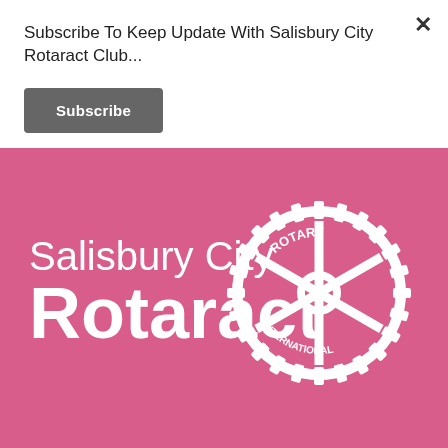Subscribe To Keep Update With Salisbury City Rotaract Club...
Subscribe
[Figure (logo): Salisbury City Rotaract Club logo with Rotary International gear emblem on pink background]